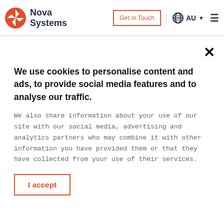Nova Systems | Get in Touch | AU | Menu
We use cookies to personalise content and ads, to provide social media features and to analyse our traffic.
We also share information about your use of our site with our social media, advertising and analytics partners who may combine it with other information you have provided them or that they have collected from your use of their services.
I accept